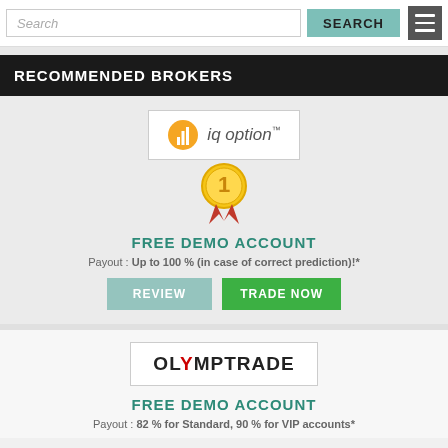Search | SEARCH
RECOMMENDED BROKERS
[Figure (logo): IQ Option logo with #1 medal ribbon badge below]
FREE DEMO ACCOUNT
Payout : Up to 100 % (in case of correct prediction)!*
REVIEW | TRADE NOW
[Figure (logo): OLYMPTRADE logo in bordered box]
FREE DEMO ACCOUNT
Payout : 82 % for Standard, 90 % for VIP accounts*